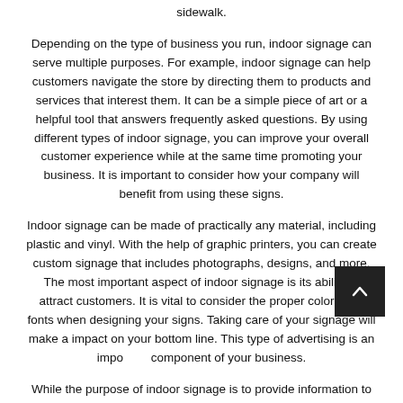inside a business front doors and in the windows facing the sidewalk.
Depending on the type of business you run, indoor signage can serve multiple purposes. For example, indoor signage can help customers navigate the store by directing them to products and services that interest them. It can be a simple piece of art or a helpful tool that answers frequently asked questions. By using different types of indoor signage, you can improve your overall customer experience while at the same time promoting your business. It is important to consider how your company will benefit from using these signs.
Indoor signage can be made of practically any material, including plastic and vinyl. With the help of graphic printers, you can create custom signage that includes photographs, designs, and more. The most important aspect of indoor signage is its ability to attract customers. It is vital to consider the proper colors and fonts when designing your signs. Taking care of your signage will make a impact on your bottom line. This type of advertising is an important component of your business.
While the purpose of indoor signage is to provide information to